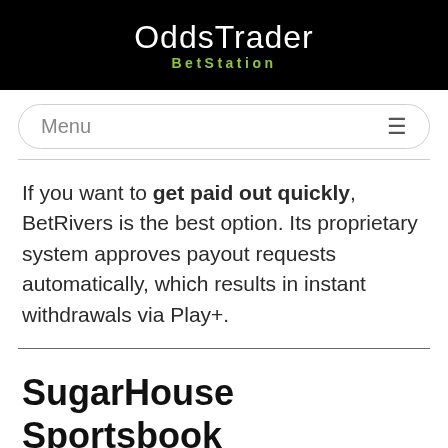OddsTrader BetStation
Menu
If you want to get paid out quickly, BetRivers is the best option. Its proprietary system approves payout requests automatically, which results in instant withdrawals via Play+.
SugarHouse Sportsbook